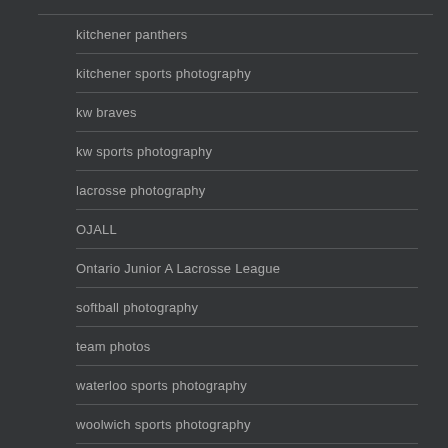kitchener panthers
kitchener sports photography
kw braves
kw sports photography
lacrosse photography
OJALL
Ontario Junior A Lacrosse League
softball photography
team photos
waterloo sports photography
woolwich sports photography